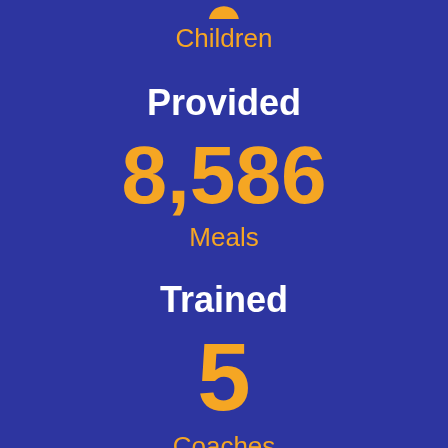Children
Provided
8,586
Meals
Trained
5
Coaches